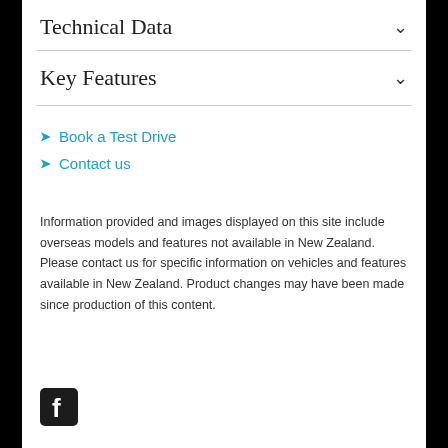Technical Data
Key Features
Book a Test Drive
Contact us
Information provided and images displayed on this site include overseas models and features not available in New Zealand. Please contact us for specific information on vehicles and features available in New Zealand. Product changes may have been made since production of this content.
[Figure (logo): Facebook logo icon - white f on dark square background]